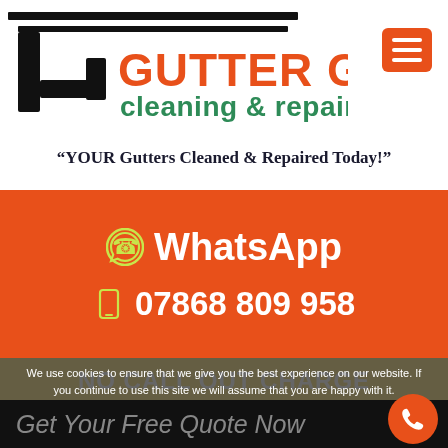[Figure (logo): Gutter Guys cleaning & repairs logo with gutter pipe icon]
“YOUR Gutters Cleaned & Repaired Today!”
WhatsApp
07868 809 958
NO CALL OUT CHARGE
We use cookies to ensure that we give you the best experience on our website. If you continue to use this site we will assume that you are happy with it.
Get Your Free Quote Now